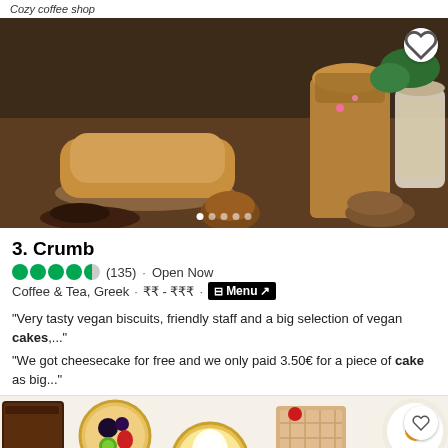Cozy coffee shop
[Figure (photo): Bakery items display: loaf of bread, bread bags, granola jar, pastries on a counter]
3. Crumb
4.5 stars (135) · Open Now · 6.4 km · Crete
Coffee & Tea, Greek · ₹₹ - ₹₹₹ · Menu ↗
"Very tasty vegan biscuits, friendly staff and a big selection of vegan cakes,..."
"We got cheesecake for free and we only paid 3.50€ for a piece of cake as big..."
[Figure (photo): Assorted small pastries, tarts with fruit toppings, cream puffs and desserts on white background]